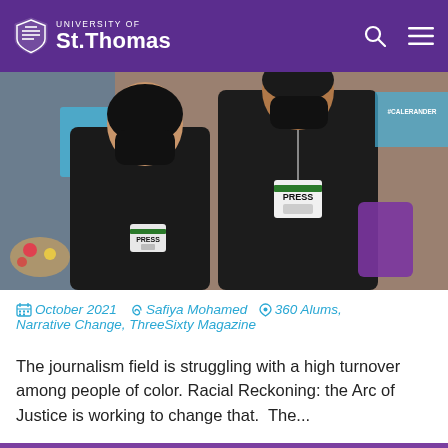University of St. Thomas
[Figure (photo): Two people wearing black jackets and face masks, both with PRESS badges on lanyards, standing in front of a brick wall with protest signs and flowers visible in the background.]
October 2021  Safiya Mohamed  360 Alums, Narrative Change, ThreeSixty Magazine
The journalism field is struggling with a high turnover among people of color. Racial Reckoning: the Arc of Justice is working to change that.  The...